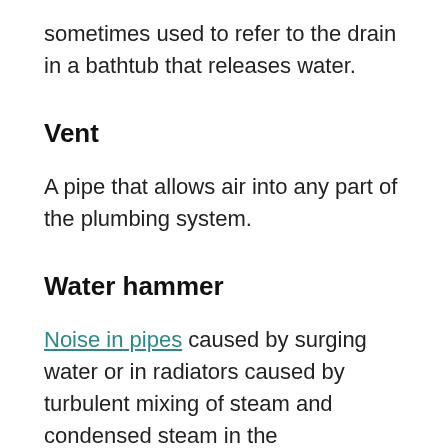sometimes used to refer to the drain in a bathtub that releases water.
Vent
A pipe that allows air into any part of the plumbing system.
Water hammer
Noise in pipes caused by surging water or in radiators caused by turbulent mixing of steam and condensed steam in the